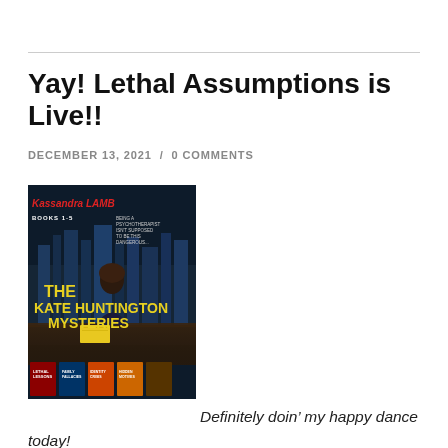Yay! Lethal Assumptions is Live!!
DECEMBER 13, 2021 / 0 COMMENTS
[Figure (illustration): Book cover collage for The Kate Huntington Mysteries by Kassandra Lamb, Books 1-5, showing a woman sitting at a desk facing a city skyline at night, with tagline 'Being a psychotherapist isn't supposed to be this dangerous...' and five smaller book covers at the bottom.]
Definitely doin’ my happy dance today!